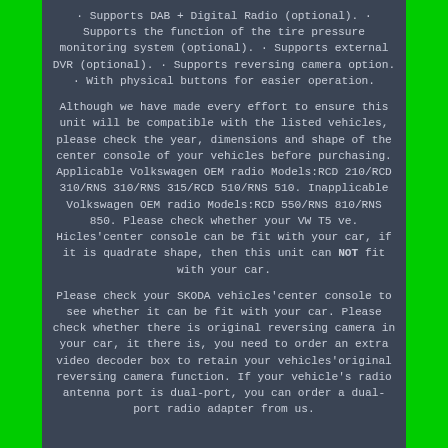· Supports DAB + Digital Radio (optional). · Supports the function of the tire pressure monitoring system (optional). · Supports external DVR (optional). · Supports reversing camera option. · With physical buttons for easier operation.
Although we have made every effort to ensure this unit will be compatible with the listed vehicles, please check the year, dimensions and shape of the center console of your vehicles before purchasing. Applicable Volkswagen OEM radio Models:RCD 210/RCD 310/RNS 310/RNS 315/RCD 510/RNS 510. Inapplicable Volkswagen OEM radio Models:RCD 550/RNS 810/RNS 850. Please check whether your VW T5 ve. Hicles'center console can be fit with your car, if it is quadrate shape, then this unit can NOT fit with your car.
Please check your SKODA vehicles'center console to see whether it can be fit with your car. Please check whether there is original reversing camera in your car, it there is, you need to order an extra video decoder box to retain your vehicles'original reversing camera function. If your vehicle's radio antenna port is dual-port, you can order a dual-port radio adapter from us.